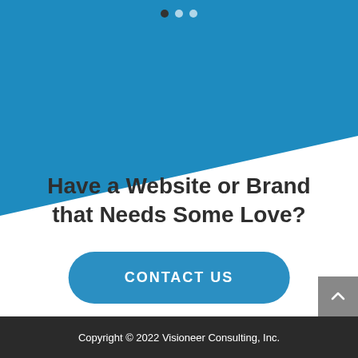[Figure (illustration): Blue diagonal banner across the top portion of the page with three navigation dots (one filled dark, two light) centered near the top]
Have a Website or Brand that Needs Some Love?
CONTACT US
Copyright © 2022 Visioneer Consulting, Inc.